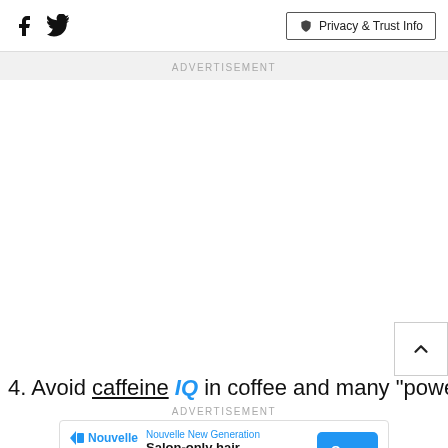Social icons (Facebook, Twitter) and Privacy & Trust Info button
ADVERTISEMENT
4. Avoid caffeine IQ in coffee and many "power" drinks.
ADVERTISEMENT
[Figure (infographic): Nouvelle New Generation ad banner: Salon-only hair solutions with Open button]